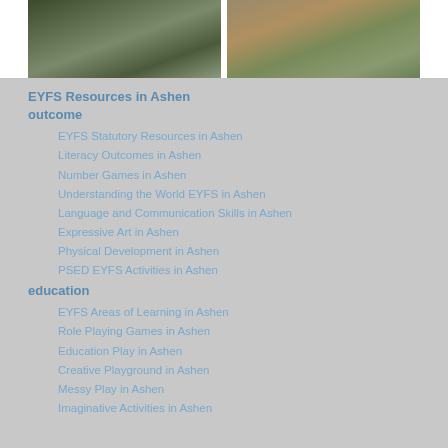[Figure (photo): Two children drawing on a chalkboard table outdoors]
[Figure (photo): Child standing in front of a wooden playhouse]
EYFS Resources in Ashen outcome
EYFS Statutory Resources in Ashen
Literacy Outcomes in Ashen
Number Games in Ashen
Understanding the World EYFS in Ashen
Language and Communication Skills in Ashen
Expressive Art in Ashen
Physical Development in Ashen
PSED EYFS Activities in Ashen
education
EYFS Areas of Learning in Ashen
Role Playing Games in Ashen
Education Play in Ashen
Creative Playground in Ashen
Messy Play in Ashen
Imaginative Activities in Ashen